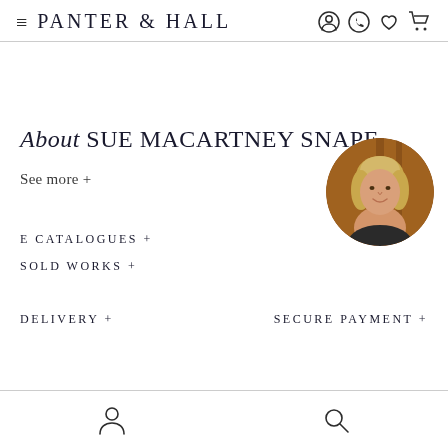PANTER & HALL
[Figure (photo): Circular profile photo of Sue Macartney Snape, a woman with blonde hair, smiling, against a warm brown background.]
About SUE MACARTNEY SNAPE
See more +
E CATALOGUES +
SOLD WORKS +
DELIVERY +
SECURE PAYMENT +